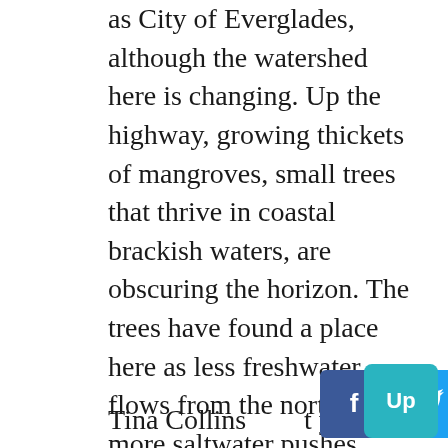as City of Everglades, although the watershed here is changing. Up the highway, growing thickets of mangroves, small trees that thrive in coastal brackish waters, are obscuring the horizon. The trees have found a place here as less freshwater flows from the north and more saltwater pushes inland. In some places, hundreds of thousands of mangroves have overtaken the prairie. The sawgrass that is the essence of the river of grass is disappearing.
Tina Collins own front yard, at
[Figure (other): Social media sharing buttons: Facebook, Twitter, Email, Print]
[Figure (other): Up navigation button (teal/cyan colored)]